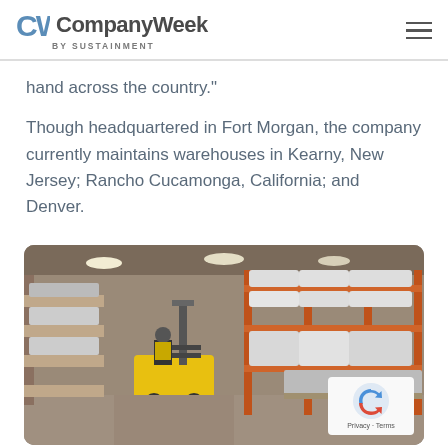CompanyWeek by Sustainment
hand across the country."
Though headquartered in Fort Morgan, the company currently maintains warehouses in Kearny, New Jersey; Rancho Cucamonga, California; and Denver.
[Figure (photo): Forklift operator in a warehouse with tall shelving racks stacked with large bags of product on pallets]